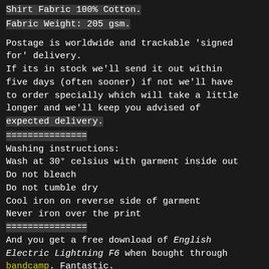Shirt Fabric 100% Cotton.
Fabric Weight: 205 gsm.
Postage is worldwide and trackable 'signed for' delivery.
If its in stock we'll send it out within five days (often sooner) if not we'll have to order specially which will take a little longer and we'll keep you advised of expected delivery.
===============
Washing instructions:
Wash at 30° celsius with garment inside out
Do not bleach
Do not tumble dry
Cool iron on reverse side of garment
Never iron over the print
===============
And you get a free download of English Electric Lightning F6 when bought through bandcamp. Fantastic.